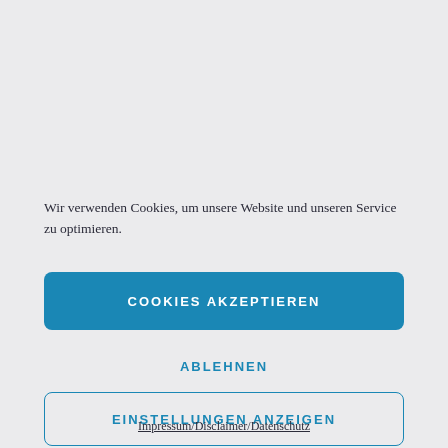Wir verwenden Cookies, um unsere Website und unseren Service zu optimieren.
COOKIES AKZEPTIEREN
ABLEHNEN
EINSTELLUNGEN ANZEIGEN
Impressum/Disclaimer/Datenschutz